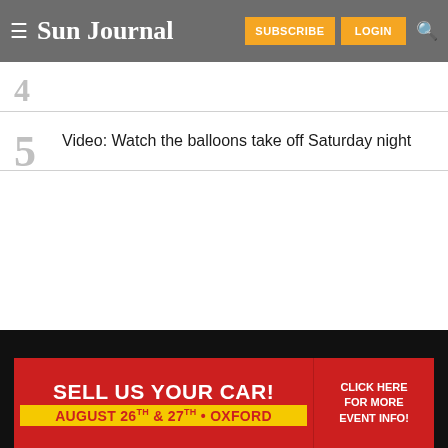Sun Journal — SUBSCRIBE  LOGIN
4 (partially visible item)
5  Video: Watch the balloons take off Saturday night
[Figure (screenshot): Advertisement banner: SELL US YOUR CAR! AUGUST 26TH & 27TH • OXFORD — CLICK HERE FOR MORE EVENT INFO!]